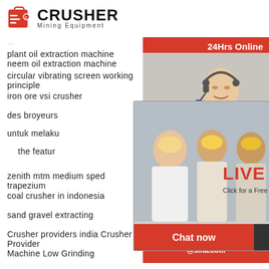[Figure (logo): CRUSHER Mining Equipment logo with red shopping bag icon]
plant oil extraction machine neem oil extraction machine
circular vibrating screen working principle
iron ore vsi crusher
des broyeurs
untuk melaku
the featur
[Figure (screenshot): Live chat popup overlay with workers in hard hats, LIVE CHAT text in red, Click for a Free Consultation, Chat now and Chat later buttons]
24Hrs Online
[Figure (photo): Customer service representative with headset]
zenith mtm medium sped trapezium
coal crusher in indonesia
sand gravel extracting
Crusher providers india Crusher Provider
Machine Low Grinding
Need questions & suggestion?
Chat Now
Enquiry
limingjlmofen@sina.com